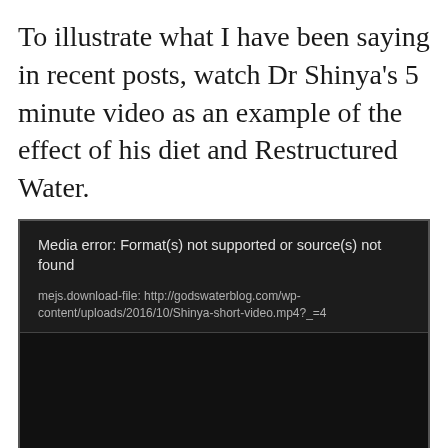To illustrate what I have been saying in recent posts, watch Dr Shinya’s 5 minute video as an example of the effect of his diet and Restructured Water.
[Figure (screenshot): Embedded video player showing a media error: 'Format(s) not supported or source(s) not found', with download URL: mejs.download-file: http://godswaterblog.com/wp-content/uploads/2016/10/Shinya-short-video.mp4?_=4. The video area below is black.]